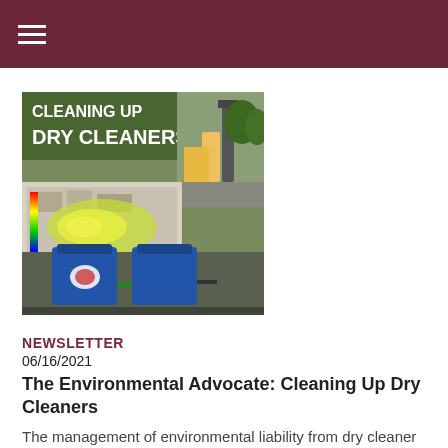[Figure (photo): Newsletter thumbnail image showing a collage with a green banner text 'CLEANING UP DRY CLEANERS', field workers with drilling equipment, a 3D contamination plume visualization, and blue industrial treatment tanks.]
NEWSLETTER
06/16/2021
The Environmental Advocate: Cleaning Up Dry Cleaners
The management of environmental liability from dry cleaner impacts is a challenging effort for ... read more